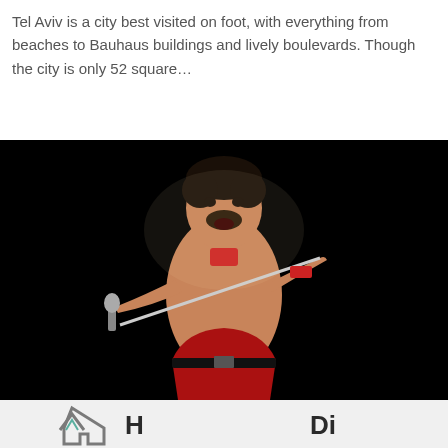Tel Aviv is a city best visited on foot, with everything from beaches to Bauhaus buildings and lively boulevards. Though the city is only 52 square…
[Figure (photo): A shirtless male performer on stage singing into a microphone, wearing red leather pants and a red wristband, against a dark background.]
[Figure (logo): Partial logo at the bottom of the page with a house/chevron icon in grey and teal, with partial text cut off.]